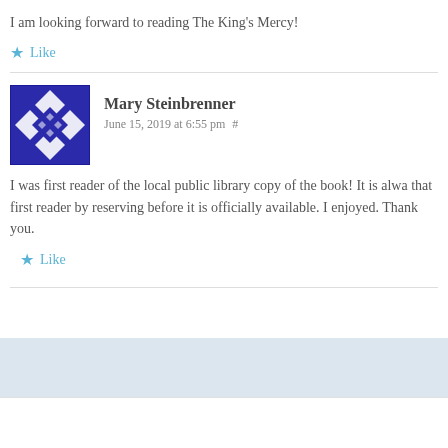I am looking forward to reading The King's Mercy!
Like
Mary Steinbrenner
June 15, 2019 at 6:55 pm #
I was first reader of the local public library copy of the book! It is alwa that first reader by reserving before it is officially available. I enjoyed. Thank you.
Like